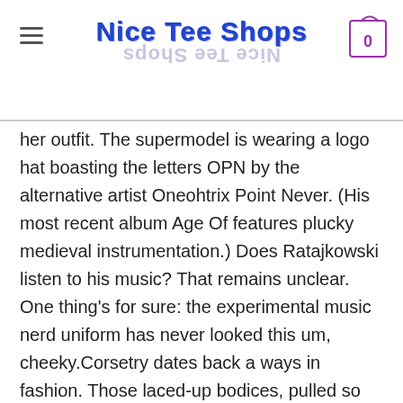Nice Tee Shops
her outfit. The supermodel is wearing a logo hat boasting the letters OPN by the alternative artist Oneohtrix Point Never. (His most recent album Age Of features plucky medieval instrumentation.) Does Ratajkowski listen to his music? That remains unclear. One thing’s for sure: the experimental music nerd uniform has never looked this um, cheeky.Corsetry dates back a ways in fashion. Those laced-up bodices, pulled so tight they took one’s breath away, were all the rage during the Elizabethan era; the defined waists helped counter the voluminous skirt proportions of that time period. Since then, design has evolved, and less-constricting approaches have been taken. Yet here we are in 2019, and like all trends, it seems to be resurfacing—this time, in an ultra-modern way.Today, Elle Fanning attended the 2019 Hulu Upfronts in New York City wearing an unexpected interpretation. Hers